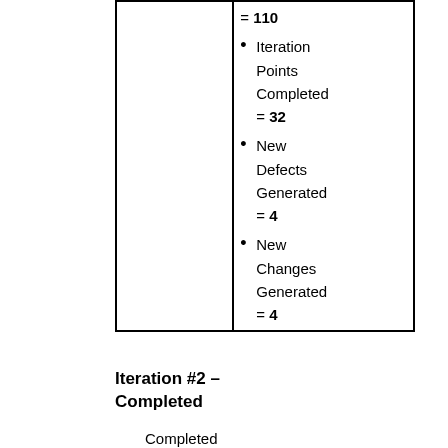|  | = 110
Iteration Points Completed = 32
New Defects Generated = 4
New Changes Generated = 4 |
Iteration #2 – Completed
Completed